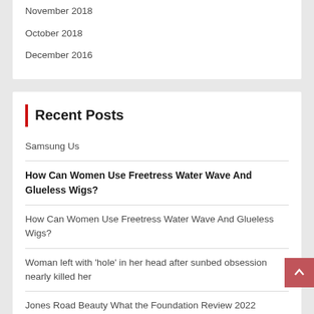November 2018
October 2018
December 2016
Recent Posts
Samsung Us
How Can Women Use Freetress Water Wave And Glueless Wigs?
How Can Women Use Freetress Water Wave And Glueless Wigs?
Woman left with 'hole' in her head after sunbed obsession nearly killed her
Jones Road Beauty What the Foundation Review 2022